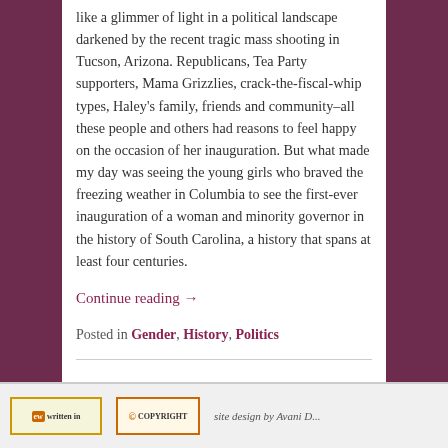like a glimmer of light in a political landscape darkened by the recent tragic mass shooting in Tucson, Arizona. Republicans, Tea Party supporters, Mama Grizzlies, crack-the-fiscal-whip types, Haley's family, friends and community–all these people and others had reasons to feel happy on the occasion of her inauguration. But what made my day was seeing the young girls who braved the freezing weather in Columbia to see the first-ever inauguration of a woman and minority governor in the history of South Carolina, a history that spans at least four centuries.
Continue reading →
Posted in Gender, History, Politics
← Older posts
written in | COPYRIGHT | site design by Avani D...